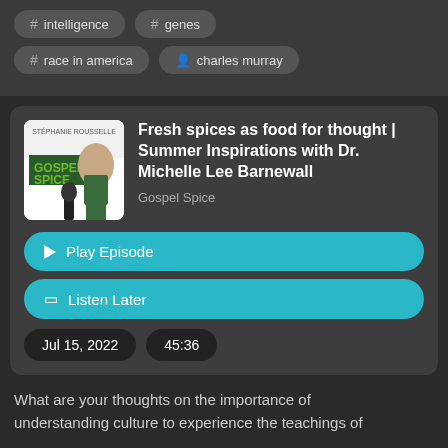# intelligence
# genes
# race in america
person charles murray
Fresh spices as food for thought | Summer Inspirations with Dr. Michelle Lee Barnewall
Gospel Spice
Play Episode
Listen Later
Jul 15, 2022
45:36
What are your thoughts on the importance of understanding culture to experience the teachings of